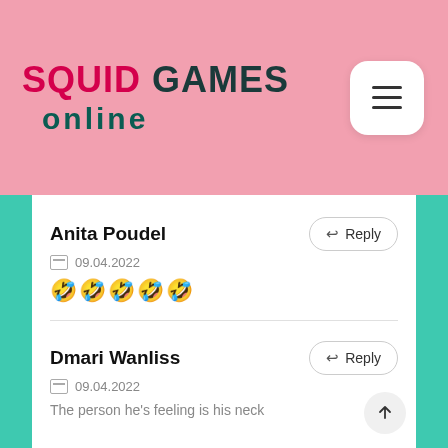SQUID GAMES online
Anita Poudel
09.04.2022
🤣🤣🤣🤣🤣
Dmari Wanliss
09.04.2022
The person he's feeling is his neck